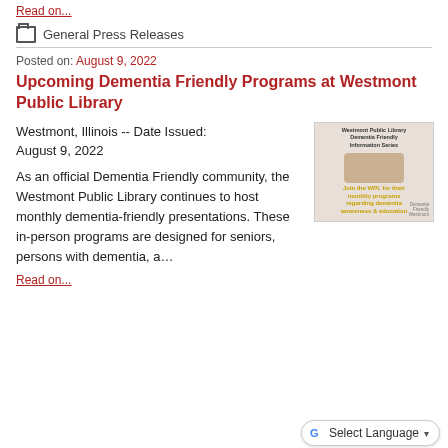Read on...
General Press Releases
Posted on: August 9, 2022
Upcoming Dementia Friendly Programs at Westmont Public Library
Westmont, Illinois -- Date Issued: August 9, 2022
[Figure (photo): Westmont Public Library Dementia Friendly Information Series flyer with hands image and text: Join the WPL for their monthly programs regarding dementia awareness & education]
As an official Dementia Friendly community, the Westmont Public Library continues to host monthly dementia-friendly presentations. These in-person programs are designed for seniors, persons with dementia, a...
Read on...